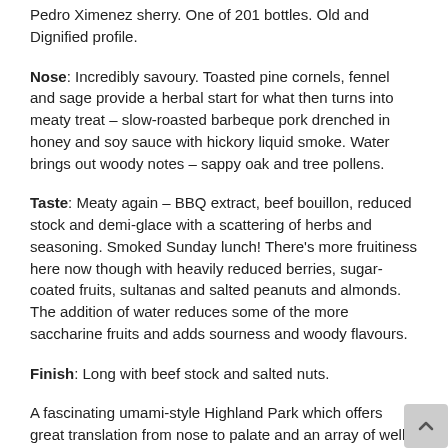Pedro Ximenez sherry. One of 201 bottles. Old and Dignified profile.
Nose: Incredibly savoury. Toasted pine cornels, fennel and sage provide a herbal start for what then turns into meaty treat – slow-roasted barbeque pork drenched in honey and soy sauce with hickory liquid smoke. Water brings out woody notes – sappy oak and tree pollens.
Taste: Meaty again – BBQ extract, beef bouillon, reduced stock and demi-glace with a scattering of herbs and seasoning. Smoked Sunday lunch! There's more fruitiness here now though with heavily reduced berries, sugar-coated fruits, sultanas and salted peanuts and almonds. The addition of water reduces some of the more saccharine fruits and adds sourness and woody flavours.
Finish: Long with beef stock and salted nuts.
A fascinating umami-style Highland Park which offers great translation from nose to palate and an array of well-defined